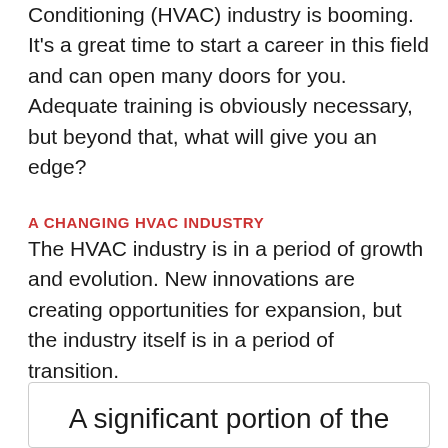Conditioning (HVAC) industry is booming. It's a great time to start a career in this field and can open many doors for you. Adequate training is obviously necessary, but beyond that, what will give you an edge?
A CHANGING HVAC INDUSTRY
The HVAC industry is in a period of growth and evolution. New innovations are creating opportunities for expansion, but the industry itself is in a period of transition.
A significant portion of the